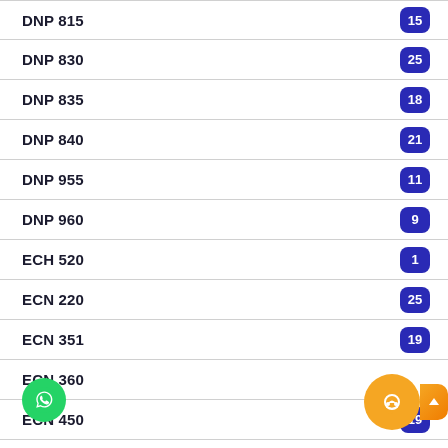DNP 815
DNP 830
DNP 835
DNP 840
DNP 955
DNP 960
ECH 520
ECN 220
ECN 351
ECN 360
ECN 450